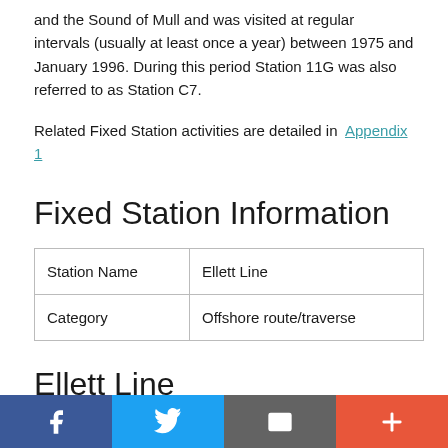across the Rockall Trough and Scottish Shelf between Rockall and the Sound of Mull and was visited at regular intervals (usually at least once a year) between 1975 and January 1996. During this period Station 11G was also referred to as Station C7.
Related Fixed Station activities are detailed in Appendix 1
Fixed Station Information
| Station Name | Ellett Line |
| Category | Offshore route/traverse |
Ellett Line